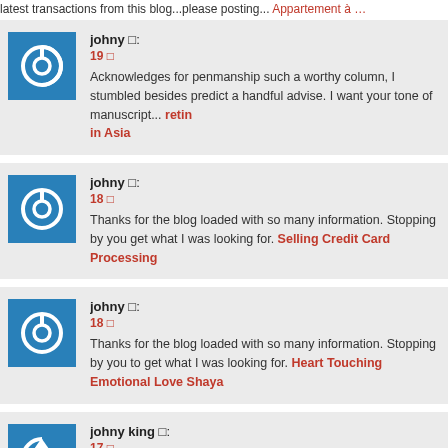latest transactions from this blog...please posting... Appartements a ...
johny □: 19 □ Acknowledges for penmanship such a worthy column, I stumbled besides predict a handful advise. I want your tone of manuscript... retin in Asia
johny □: 18 □ Thanks for the blog loaded with so many information. Stopping by you get what I was looking for. Selling Credit Card Processing
johny □: 18 □ Thanks for the blog loaded with so many information. Stopping by you to get what I was looking for. Heart Touching Emotional Love Shaya
johny king □: 17 □